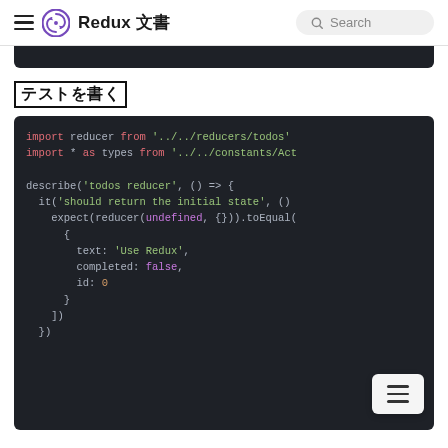Redux 文書
[Figure (screenshot): Dark code block (top portion, partially visible) showing previous code snippet]
テストを書く
[Figure (screenshot): Dark code block showing JavaScript/Jest test code: import reducer from '../../reducers/todos', import * as types from '../../constants/Act..., describe('todos reducer', () => { it('should return the initial state', () => { expect(reducer(undefined, {})).toEqual([ { text: 'Use Redux', completed: false, id: 0 } ]) }) })]